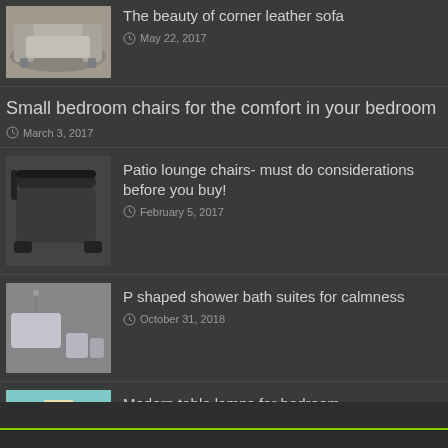[Figure (photo): Corner leather sofa thumbnail image]
The beauty of corner leather sofa
May 22, 2017
Small bedroom chairs for the comfort in your bedroom
March 3, 2017
[Figure (photo): Patio lounge chair thumbnail image]
Patio lounge chairs- must do considerations before you buy!
February 5, 2017
[Figure (photo): P shaped shower bath suite thumbnail image]
P shaped shower bath suites for calmness
October 31, 2018
[Figure (photo): Modern table lamp thumbnail image]
Modern table lamps for bedroom
May 25, 2018